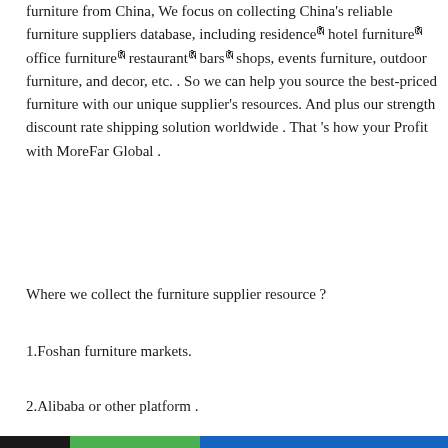furniture from China, We focus on collecting China's reliable furniture suppliers database, including residenceก hotel furnitureก office furnitureก restaurantก barsก shops, events furniture, outdoor furniture, and decor, etc. . So we can help you source the best-priced furniture with our unique supplier's resources. And plus our strength discount rate shipping solution worldwide . That 's how your Profit with MoreFar Global .
Where we collect the furniture supplier resource ?
1.Foshan furniture markets.
2.Alibaba or other platform .